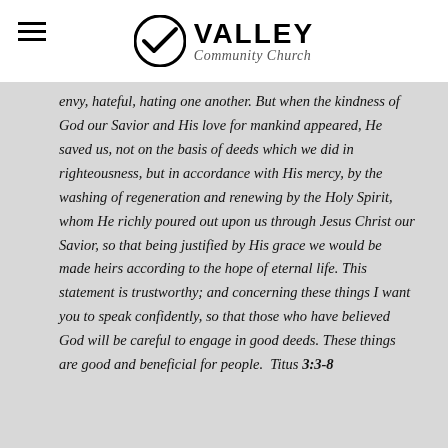Valley Community Church
envy, hateful, hating one another. But when the kindness of God our Savior and His love for mankind appeared, He saved us, not on the basis of deeds which we did in righteousness, but in accordance with His mercy, by the washing of regeneration and renewing by the Holy Spirit, whom He richly poured out upon us through Jesus Christ our Savior, so that being justified by His grace we would be made heirs according to the hope of eternal life. This statement is trustworthy; and concerning these things I want you to speak confidently, so that those who have believed God will be careful to engage in good deeds. These things are good and beneficial for people. Titus 3:3-8